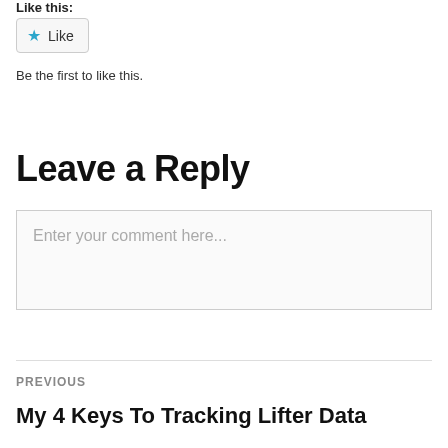Like this:
[Figure (other): Like button with blue star icon and 'Like' label]
Be the first to like this.
Leave a Reply
Enter your comment here...
PREVIOUS
My 4 Keys To Tracking Lifter Data